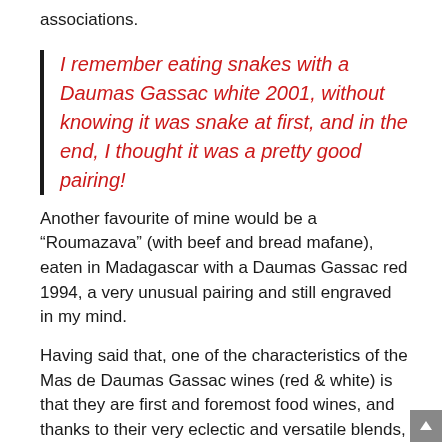associations.
I remember eating snakes with a Daumas Gassac white 2001, without knowing it was snake at first, and in the end, I thought it was a pretty good pairing!
Another favourite of mine would be a “Roumazava” (with beef and bread mafane), eaten in Madagascar with a Daumas Gassac red 1994, a very unusual pairing and still engraved in my mind.
Having said that, one of the characteristics of the Mas de Daumas Gassac wines (red & white) is that they are first and foremost food wines, and thanks to their very eclectic and versatile blends, they can accompany almost any kind of food – spicy, fruity, fresh, seafood, meat…. One would be very